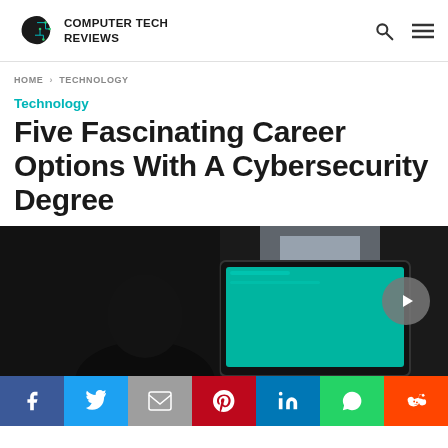COMPUTER TECH REVIEWS
HOME › TECHNOLOGY
Technology
Five Fascinating Career Options With A Cybersecurity Degree
[Figure (photo): Person viewed from behind looking at a tablet/laptop with a teal screen, dark background]
Social share buttons: Facebook, Twitter, Gmail, Pinterest, LinkedIn, WhatsApp, Reddit